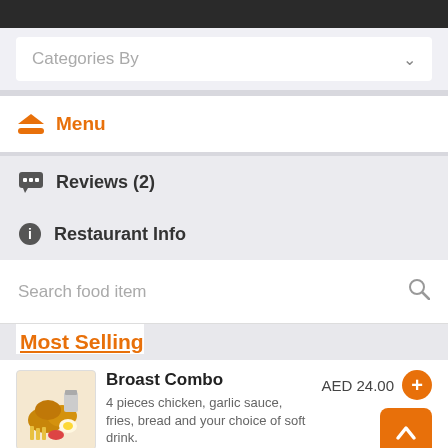Categories By
Menu
Reviews (2)
Restaurant Info
Search food item
Most Selling
Broast Combo  AED 24.00
4 pieces chicken, garlic sauce, fries, bread and your choice of soft drink.